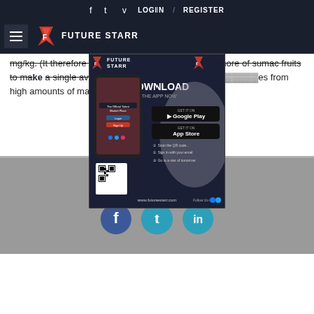f  t  v  LOGIN  /  REGISTER
[Figure (logo): Future Starr logo with hamburger menu on dark navy header bar]
mg/kg. (It therefore takes three pounds (1.36 kg) or more of sumac fruits to ma... a single average lemon, at over 50... ...es from high amounts of malic ... ...rg)
[Figure (infographic): Future Starr app advertisement overlay showing smartphone with Download The App Now, Google Play and App Store buttons, QR code, and www.futurestarr.com]
Share Article
[Figure (infographic): Three circular social share icons: Facebook (dark blue), Twitter (teal), LinkedIn (teal)]